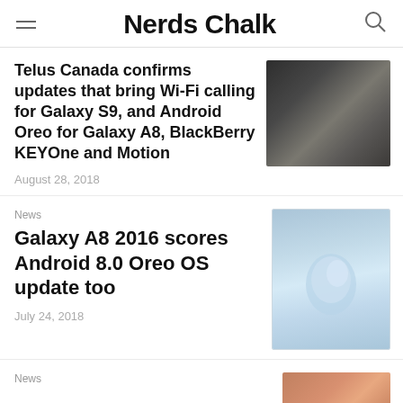Nerds Chalk
Telus Canada confirms updates that bring Wi-Fi calling for Galaxy S9, and Android Oreo for Galaxy A8, BlackBerry KEYOne and Motion
August 28, 2018
News
Galaxy A8 2016 scores Android 8.0 Oreo OS update too
July 24, 2018
News